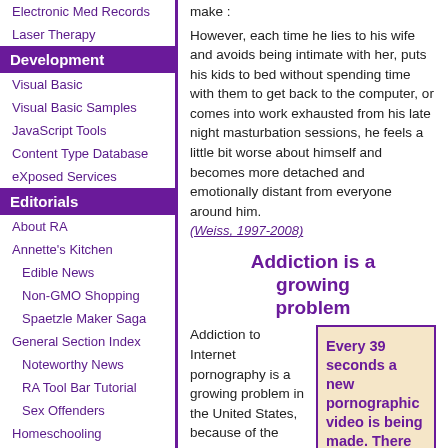Electronic Med Records
Laser Therapy
Development
Visual Basic
Visual Basic Samples
JavaScript Tools
Content Type Database
eXposed Services
Editorials
About RA
Annette's Kitchen
Edible News
Non-GMO Shopping
Spaetzle Maker Saga
General Section Index
Noteworthy News
RA Tool Bar Tutorial
Sex Offenders
Homeschooling
Find Support Groups
Liberty's Kids
make :
However, each time he lies to his wife and avoids being intimate with her, puts his kids to bed without spending time with them to get back to the computer, or comes into work exhausted from his late night masturbation sessions, he feels a little bit worse about himself and becomes more detached and emotionally distant from everyone around him. (Weiss, 1997-2008)
Addiction is a growing problem
Addiction to Internet pornography is a growing problem in the United States, because of the
Every 39 seconds a new pornographic video is being made. There